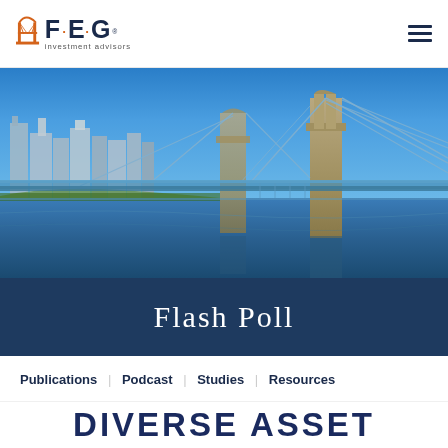FEG Investment Advisors
[Figure (photo): Aerial/eye-level view of a suspension bridge (Roebling Bridge) over a river with Cincinnati city skyline in the background under blue sky]
Flash Poll
Publications | Podcast | Studies | Resources
DIVERSE ASSET